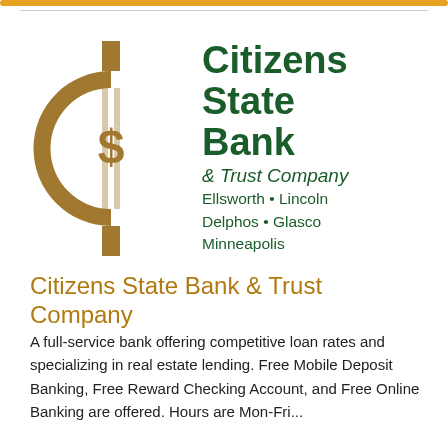[Figure (logo): Citizens State Bank & Trust Company logo: gold/brown cent sign (C with dollar sign) on left, dark green bold text 'Citizens State Bank & Trust Company' with locations 'Ellsworth • Lincoln Delphos • Glasco Minneapolis' on right]
Citizens State Bank & Trust Company
A full-service bank offering competitive loan rates and specializing in real estate lending. Free Mobile Deposit Banking, Free Reward Checking Account, and Free Online Banking are offered. Hours are Mon-Fri...